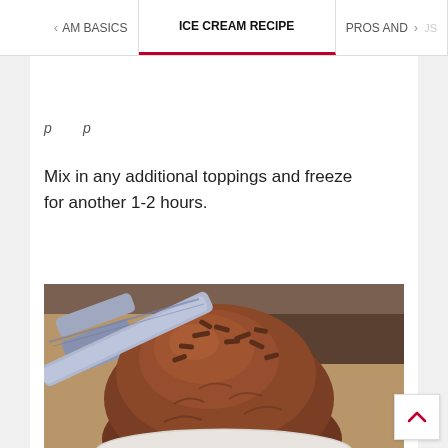ICE CREAM BASICS | ICE CREAM RECIPE | PROS AND
Mix in any additional toppings and freeze for another 1-2 hours.
[Figure (photo): A scoop of chocolate ice cream with chocolate sprinkles in a white bowl, with a blue-patterned spoon resting on it, on a wooden surface.]